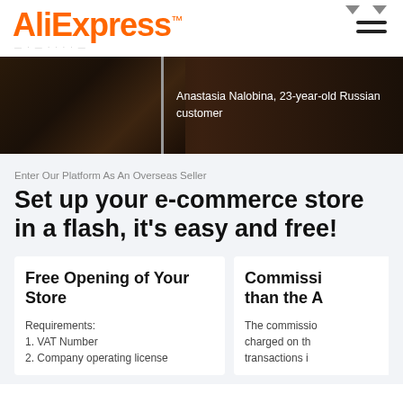[Figure (logo): AliExpress logo with orange text and TM symbol]
[Figure (photo): Dark interior room photo with text overlay: Anastasia Nalobina, 23-year-old Russian customer]
Enter Our Platform As An Overseas Seller
Set up your e-commerce store in a flash, it's easy and free!
Free Opening of Your Store
Requirements:
1. VAT Number
2. Company operating license
Commissi than the A
The commissio charged on th transactions i